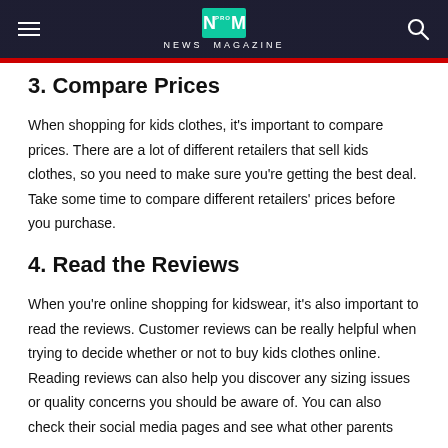NM PRO NEWS MAGAZINE
3. Compare Prices
When shopping for kids clothes, it's important to compare prices. There are a lot of different retailers that sell kids clothes, so you need to make sure you're getting the best deal. Take some time to compare different retailers' prices before you purchase.
4. Read the Reviews
When you're online shopping for kidswear, it's also important to read the reviews. Customer reviews can be really helpful when trying to decide whether or not to buy kids clothes online. Reading reviews can also help you discover any sizing issues or quality concerns you should be aware of. You can also check their social media pages and see what other parents say.
5. Know the Sizing